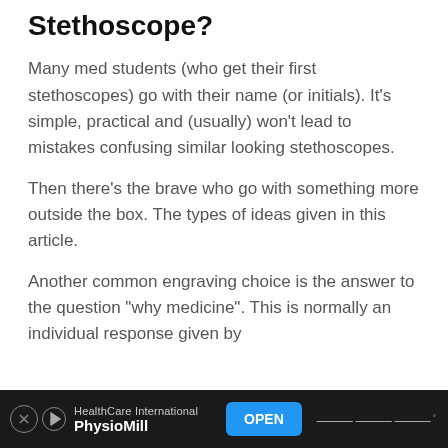Stethoscope?
Many med students (who get their first stethoscopes) go with their name (or initials). It’s simple, practical and (usually) won’t lead to mistakes confusing similar looking stethoscopes.
Then there’s the brave who go with something more outside the box. The types of ideas given in this article.
Another common engraving choice is the answer to the question “why medicine”. This is normally an individual response given by
[Figure (infographic): Advertisement bar at bottom: HealthCare International / PhysioMill with OPEN button]